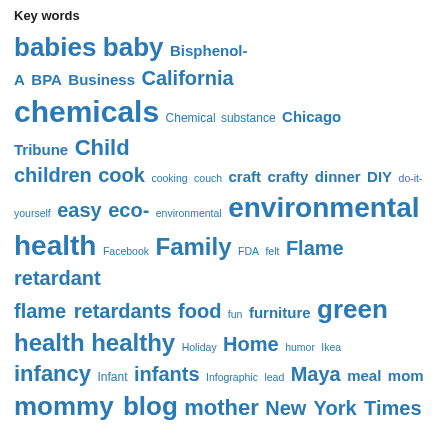Key words
[Figure (infographic): Word cloud of blog keywords in blue, with varying font sizes indicating frequency. Words include: babies, baby, Bisphenol-A, BPA, Business, California, chemicals, Chemical substance, Chicago Tribune, Child, children, cook, cooking, couch, craft, crafty, dinner, DIY, do-it-yourself, easy, eco-, environmental, environmental health, Facebook, Family, FDA, felt, Flame retardant, flame retardants, food, fun, furniture, green, health, healthy, Holiday, Home, humor, Ikea, infancy, Infant, infants, Infographic, lead, Maya, meal, mom, mommy blog, mother, New York Times]